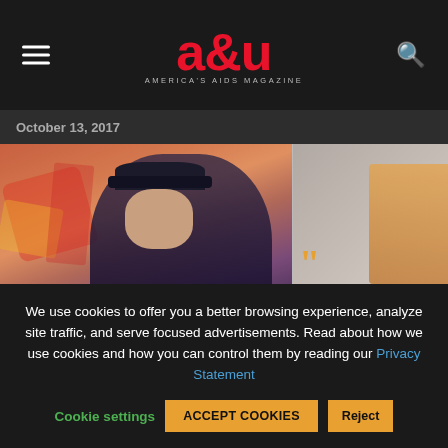a&u — America's AIDS Magazine
October 13, 2017
[Figure (photo): Person wearing a black cap and lace jacket standing in front of a colorful graffiti wall]
Jairo Flores D'l Carpio: Advocate
[Figure (photo): Partial view of a second article card showing a quote mark and partial title text 'Latinos Gr... Sheds Lig...']
Latinos Gr... Sheds Lig...
We use cookies to offer you a better browsing experience, analyze site traffic, and serve focused advertisements. Read about how we use cookies and how you can control them by reading our Privacy Statement
Cookie settings   ACCEPT COOKIES   Reject